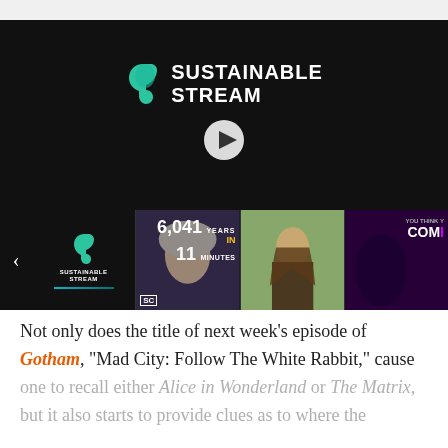[Figure (screenshot): Video player showing Sustainable Stream logo with play button and progress bar, with thumbnail strip below showing: Sustainable Stream logo, '6,041 Years In 11 Minutes' text overlay on woman's face, man with long hair outdoors, and comic-themed thumbnail]
Not only does the title of next week's episode of Gotham, "Mad City: Follow The White Rabbit," cause one to recall either Alice in Wonderland or The Matrix, but it also starts to provide clues as to where the